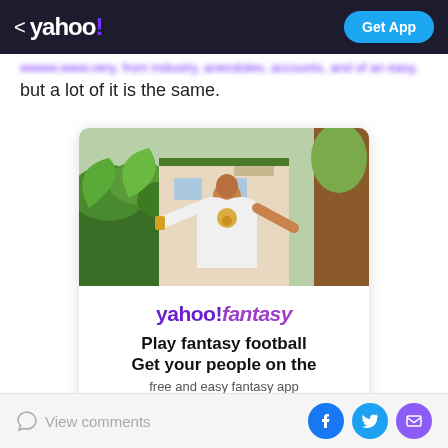< yahoo! Get App
but a lot of it is the same.
[Figure (photo): Yahoo Fantasy Football advertisement with a man in a white jacket spreading his arms wide, with tropical plants and a building in the background. Below the photo: yahoo!fantasy logo, text 'Play fantasy football Get your people on the free and easy fantasy app', and a 'Create a league' button.]
View comments